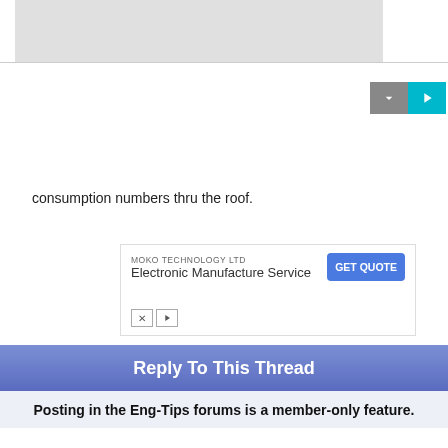[Figure (screenshot): Gray placeholder box for embedded video or image content]
[Figure (screenshot): Video controls with down arrow (gray) and play button (cyan/teal)]
consumption numbers thru the roof.
[Figure (other): Advertisement for MOKO TECHNOLOGY LTD - Electronic Manufacture Service with GET QUOTE button]
Reply To This Thread
Posting in the Eng-Tips forums is a member-only feature.

Click Here to join Eng-Tips and talk with other members! Already a Member? Login
Join
Advertise
Copyright © 1998-2022 engineering.com, Inc. All rights reserved.
Unauthorized reproduction or linking forbidden without